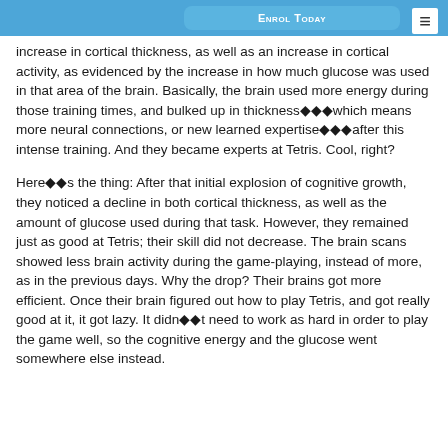Enrol Today
increase in cortical thickness, as well as an increase in cortical activity, as evidenced by the increase in how much glucose was used in that area of the brain. Basically, the brain used more energy during those training times, and bulked up in thickness◆◆◆which means more neural connections, or new learned expertise◆◆◆after this intense training. And they became experts at Tetris. Cool, right?
Here◆◆s the thing: After that initial explosion of cognitive growth, they noticed a decline in both cortical thickness, as well as the amount of glucose used during that task. However, they remained just as good at Tetris; their skill did not decrease. The brain scans showed less brain activity during the game-playing, instead of more, as in the previous days. Why the drop? Their brains got more efficient. Once their brain figured out how to play Tetris, and got really good at it, it got lazy. It didn◆◆t need to work as hard in order to play the game well, so the cognitive energy and the glucose went somewhere else instead.